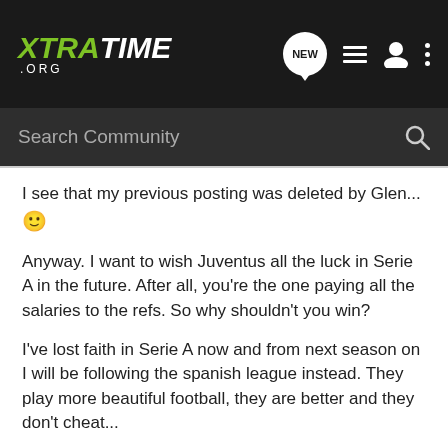XTRATIME .ORG
I see that my previous posting was deleted by Glen... 🙂
Anyway. I want to wish Juventus all the luck in Serie A in the future. After all, you're the one paying all the salaries to the refs. So why shouldn't you win?
I've lost faith in Serie A now and from next season on I will be following the spanish league instead. They play more beautiful football, they are better and they don't cheat...
Bye bye cheating Juve...
Viva Valencia!!
Viva Espana!!